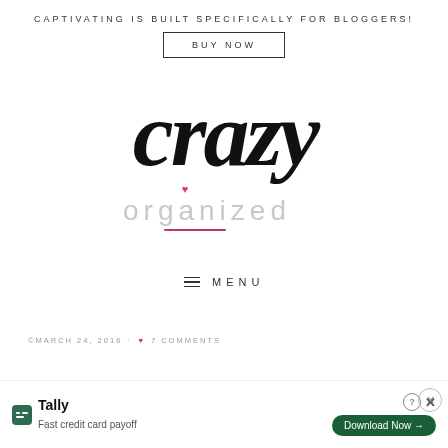CAPTIVATING IS BUILT SPECIFICALLY FOR BLOGGERS!
BUY NOW
[Figure (logo): Crazy Organized blog logo - 'crazy' in large black script calligraphy overlapping 'organized' in light grey sans-serif text with a pink heart accent and pink underline]
≡  MENU
©MARCH 24, 2016 · ♥ 7 COMMENTS
Eas
[Figure (screenshot): Tally app advertisement banner: 'Fast credit card payoff' with Download Now button and close controls]